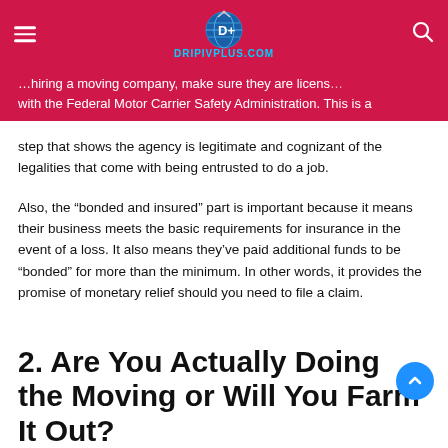DRIPIVPLUS.COM
...hiring a moving company, make sure they are licensed with the Federal Motor Carrier Safety Administration. This is a step that shows the agency is legitimate and cognizant of the legalities that come with being entrusted to do a job.
Also, the “bonded and insured” part is important because it means their business meets the basic requirements for insurance in the event of a loss. It also means they’ve paid additional funds to be “bonded” for more than the minimum. In other words, it provides the promise of monetary relief should you need to file a claim.
2. Are You Actually Doing the Moving or Will You Farm It Out?